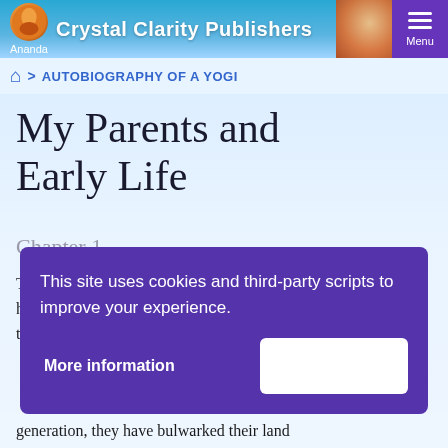Crystal Clarity Publishers — Ananda | Menu
🏠 > AUTOBIOGRAPHY OF A YOGI
My Parents and Early Life
Chapter 1
The characteristic features of Indian culture have long been a search for ultimate verities and the most intimate divine relationship...
This site uses cookies and third-party scripts to improve your experience.
More information
generation, they have bulwarked their land